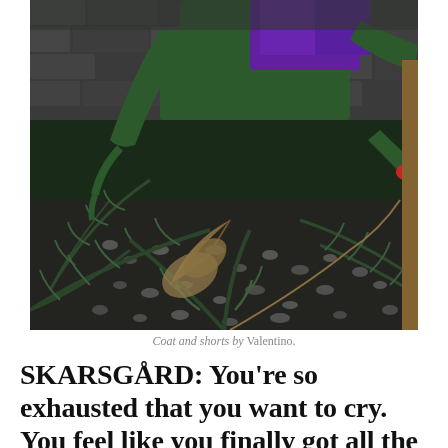[Figure (photo): A person wearing a green coat and purple shorts crouching among lush green ferns and gravel in a garden, with a stone wall in the background. Red gloves visible on one hand.]
Coat and shorts by Valentino.
SKARSGÅRD: You're so exhausted that you want to cry. You feel like you finally got all the choreography of the